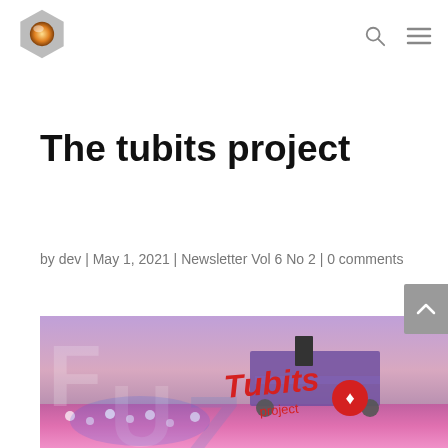The tubits project
by dev | May 1, 2021 | Newsletter Vol 6 No 2 | 0 comments
[Figure (photo): Hero image for the tubits project post showing a tulip farm with large machinery at dusk/twilight, with the stylized red Tubits project logo overlaid on top, and faint large letters 'F', 'U', 'Z' watermarked in the background.]